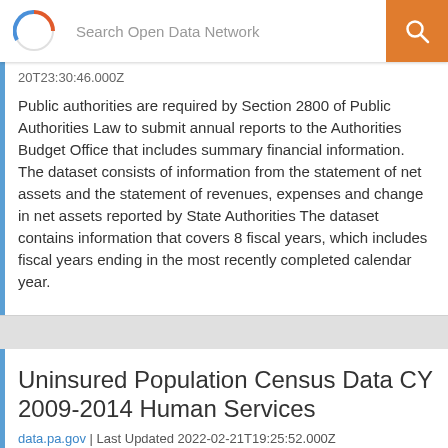Search Open Data Network
20T23:30:46.000Z
Public authorities are required by Section 2800 of Public Authorities Law to submit annual reports to the Authorities Budget Office that includes summary financial information. The dataset consists of information from the statement of net assets and the statement of revenues, expenses and change in net assets reported by State Authorities The dataset contains information that covers 8 fiscal years, which includes fiscal years ending in the most recently completed calendar year.
Uninsured Population Census Data CY 2009-2014 Human Services
data.pa.gov | Last Updated 2022-02-21T19:25:52.000Z